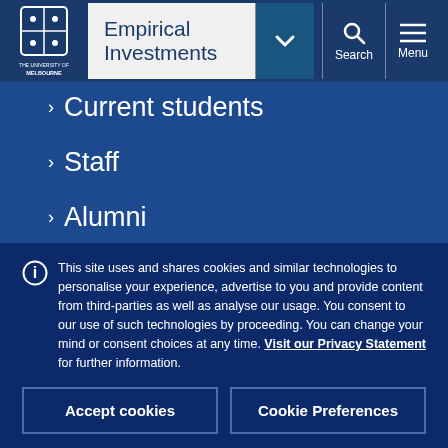[Figure (logo): University of Melbourne crest logo in white on blue background]
Empirical Investments
Current students
Staff
Alumni
This site uses and shares cookies and similar technologies to personalise your experience, advertise to you and provide content from third-parties as well as analyse our usage. You consent to our use of such technologies by proceeding. You can change your mind or consent choices at any time. Visit our Privacy Statement for further information.
Accept cookies
Cookie Preferences